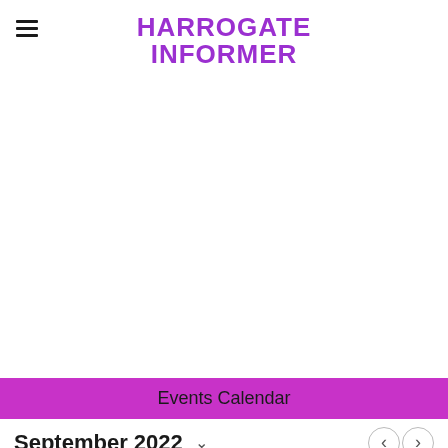HARROGATE INFORMER
Events Calendar
September 2022
M  T  W  T  F  S  S